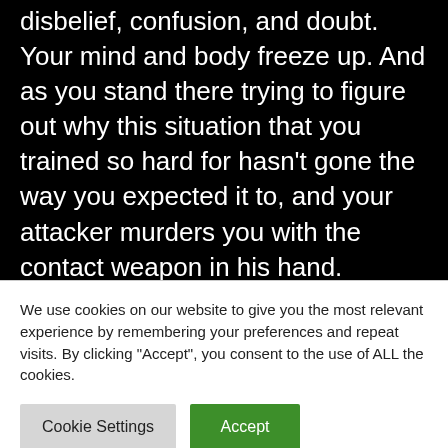disbelief, confusion, and doubt. Your mind and body freeze up. And as you stand there trying to figure out why this situation that you trained so hard for hasn't gone the way you expected it to, and your attacker murders you with the contact weapon in his hand.

This, my friends, is what can happen when you have a Training Scar in your mindset. I have
We use cookies on our website to give you the most relevant experience by remembering your preferences and repeat visits. By clicking "Accept", you consent to the use of ALL the cookies.